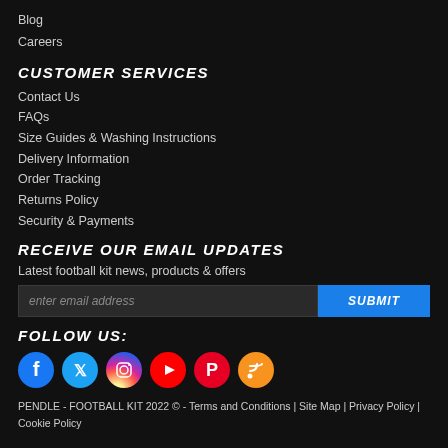Blog
Careers
CUSTOMER SERVICES
Contact Us
FAQs
Size Guides & Washing Instructions
Delivery Information
Order Tracking
Returns Policy
Security & Payments
RECEIVE OUR EMAIL UPDATES
Latest football kit news, products & offers
[Figure (infographic): Email signup form with input field and SUBMIT button]
FOLLOW US:
[Figure (infographic): Social media icons: Facebook, Twitter, Instagram, YouTube, Pinterest, RSS]
PENDLE - FOOTBALL KIT 2022 © - Terms and Conditions | Site Map | Privacy Policy | Cookie Policy